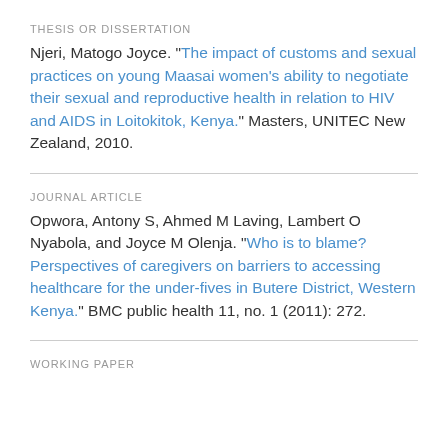THESIS OR DISSERTATION
Njeri, Matogo Joyce. "The impact of customs and sexual practices on young Maasai women's ability to negotiate their sexual and reproductive health in relation to HIV and AIDS in Loitokitok, Kenya." Masters, UNITEC New Zealand, 2010.
JOURNAL ARTICLE
Opwora, Antony S, Ahmed M Laving, Lambert O Nyabola, and Joyce M Olenja. "Who is to blame? Perspectives of caregivers on barriers to accessing healthcare for the under-fives in Butere District, Western Kenya." BMC public health 11, no. 1 (2011): 272.
WORKING PAPER